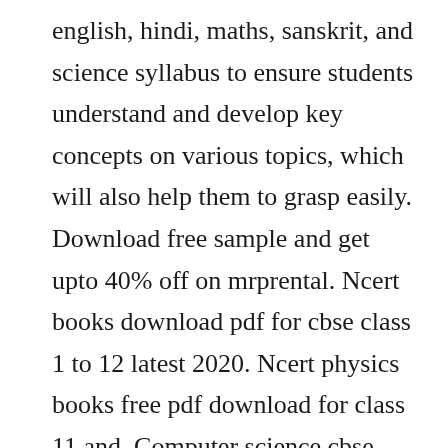english, hindi, maths, sanskrit, and science syllabus to ensure students understand and develop key concepts on various topics, which will also help them to grasp easily. Download free sample and get upto 40% off on mrprental. Ncert books download pdf for cbse class 1 to 12 latest 2020. Ncert physics books free pdf download for class 11 and. Computer science cbse class 11 books pdf free download cbse. Apr 06, 2019 ncert physics books for class 11 and class 12 are published by the officials of ncert national council of educational...